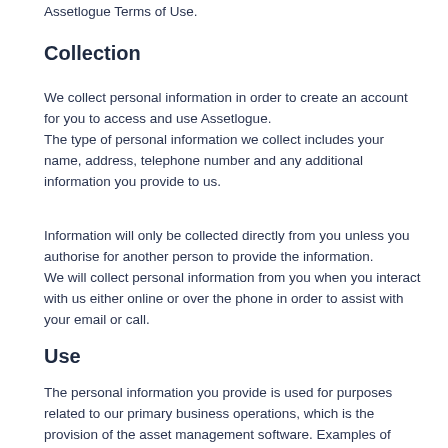Assetlogue Terms of Use.
Collection
We collect personal information in order to create an account for you to access and use Assetlogue.
The type of personal information we collect includes your name, address, telephone number and any additional information you provide to us.
Information will only be collected directly from you unless you authorise for another person to provide the information.
We will collect personal information from you when you interact with us either online or over the phone in order to assist with your email or call.
Use
The personal information you provide is used for purposes related to our primary business operations, which is the provision of the asset management software. Examples of when your information may be used include: